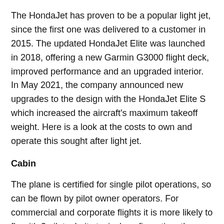The HondaJet has proven to be a popular light jet, since the first one was delivered to a customer in 2015. The updated HondaJet Elite was launched in 2018, offering a new Garmin G3000 flight deck, improved performance and an upgraded interior. In May 2021, the company announced new upgrades to the design with the HondaJet Elite S which increased the aircraft's maximum takeoff weight. Here is a look at the costs to own and operate this sought after light jet.
Cabin
The plane is certified for single pilot operations, so can be flown by pilot owner operators. For commercial and corporate flights it is more likely to fly with 2 pilots. In its typical configuration, the HondaJet has room for 5 or 6 passengers. An alternative configuration permits up to 7 passengers with 1 crew member. Passengers can enjoy a speakerless sound system for immersive audio in the cabin.
The full interior length is 17 ft 8.5 in (5.43m), with 18 ft of that